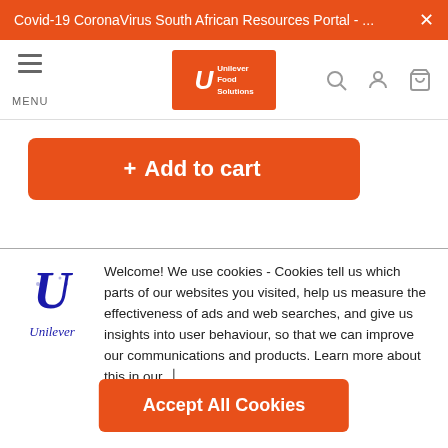Covid-19 CoronaVirus South African Resources Portal - ... ×
[Figure (logo): Unilever Food Solutions logo in orange rectangle with navigation bar including menu icon, search, account and cart icons]
+ Add to cart
Welcome! We use cookies - Cookies tell us which parts of our websites you visited, help us measure the effectiveness of ads and web searches, and give us insights into user behaviour, so that we can improve our communications and products. Learn more about this in our cookie notice.
Accept All Cookies